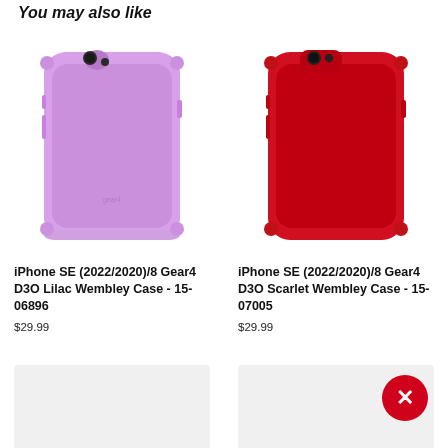You may also like
[Figure (photo): iPhone SE (2022/2020)/8 Gear4 D3O Lilac Wembley Case - a purple/lilac colored protective phone case]
iPhone SE (2022/2020)/8 Gear4 D3O Lilac Wembley Case - 15-06896
$29.99
[Figure (photo): iPhone SE (2022/2020)/8 Gear4 D3O Scarlet Wembley Case - a red colored protective phone case]
iPhone SE (2022/2020)/8 Gear4 D3O Scarlet Wembley Case - 15-07005
$29.99
[Figure (photo): Placeholder image area - light gray box]
[Figure (photo): Placeholder image area with red X/close button overlay - light gray box]